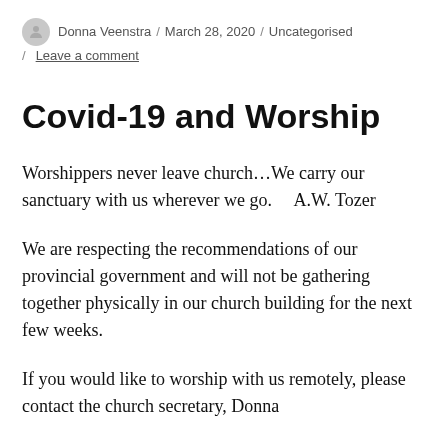Donna Veenstra / March 28, 2020 / Uncategorised / Leave a comment
Covid-19 and Worship
Worshippers never leave church…We carry our sanctuary with us wherever we go.    A.W. Tozer
We are respecting the recommendations of our provincial government and will not be gathering together physically in our church building for the next few weeks.
If you would like to worship with us remotely, please contact the church secretary, Donna